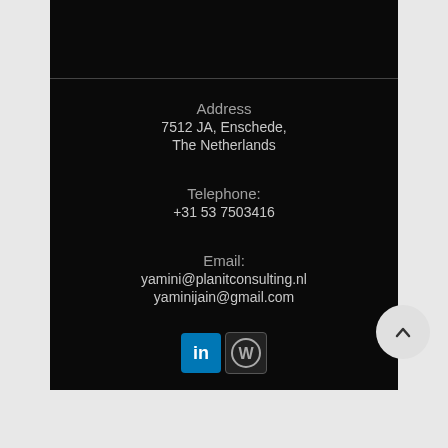Address
7512 JA, Enschede,
The Netherlands
Telephone:
+31 53 7503416
Email:
yamini@planitconsulting.nl
yaminijain@gmail.com
[Figure (logo): LinkedIn and WordPress social media icons, plus a scroll-to-top button]